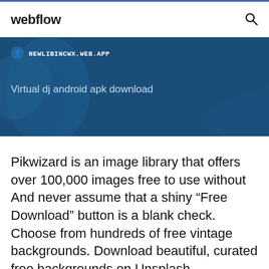webflow
[Figure (screenshot): Dark blue banner showing a globe/map background with URL bar reading NEWLIBINCWX.WEB.APP and text 'Virtual dj android apk download']
Pikwizard is an image library that offers over 100,000 images free to use without And never assume that a shiny “Free Download” button is a blank check. Choose from hundreds of free vintage backgrounds. Download beautiful, curated free backgrounds on Unsplash.